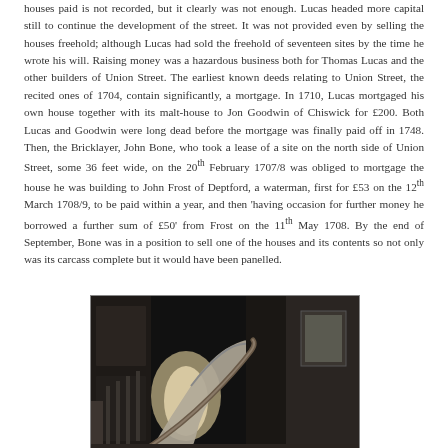houses paid is not recorded, but it clearly was not enough. Lucas headed more capital still to continue the development of the street. It was not provided even by selling the houses freehold; although Lucas had sold the freehold of seventeen sites by the time he wrote his will. Raising money was a hazardous business both for Thomas Lucas and the other builders of Union Street. The earliest known deeds relating to Union Street, the recited ones of 1704, contain significantly, a mortgage. In 1710, Lucas mortgaged his own house together with its malt-house to Jon Goodwin of Chiswick for £200. Both Lucas and Goodwin were long dead before the mortgage was finally paid off in 1748. Then, the Bricklayer, John Bone, who took a lease of a site on the north side of Union Street, some 36 feet wide, on the 20th February 1707/8 was obliged to mortgage the house he was building to John Frost of Deptford, a waterman, first for £53 on the 12th March 1708/9, to be paid within a year, and then 'having occasion for further money he borrowed a further sum of £50' from Frost on the 11th May 1708. By the end of September, Bone was in a position to sell one of the houses and its contents so not only was its carcass complete but it would have been panelled.
[Figure (photo): Black and white photograph of an interior staircase, showing a curved banister and panelled walls in a historical building.]